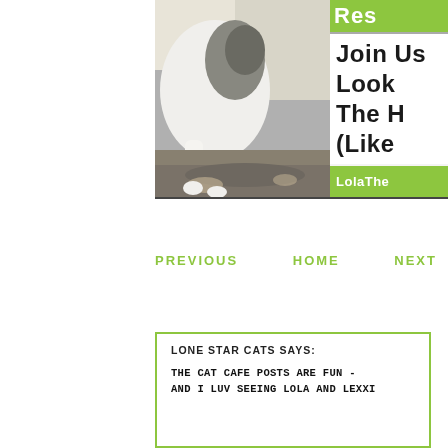[Figure (photo): A cat photo on the left side showing a white and gray cat, and on the right an overlay panel with green header showing 'Res', large bold text reading 'Join Us', 'Look', 'The H', '(Like' and a green footer bar reading 'LolaThe']
PREVIOUS    HOME    NEXT
LONE STAR CATS SAYS:

THE CAT CAFE POSTS ARE FUN - AND I LUV SEEING LOLA AND LEXXI